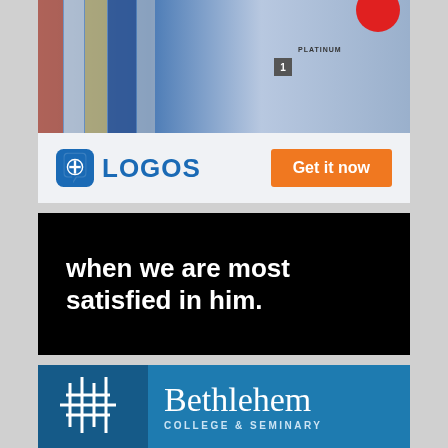[Figure (photo): Logos Bible Software advertisement showing book spines and platinum branding at the top]
[Figure (logo): Logos Bible Software logo with blue speech bubble icon containing a cross, followed by blue text LOGOS and an orange Get it now button]
when we are most satisfied in him.
[Figure (logo): Bethlehem College & Seminary logo with cross/grid symbol on dark blue banner background and white serif text]